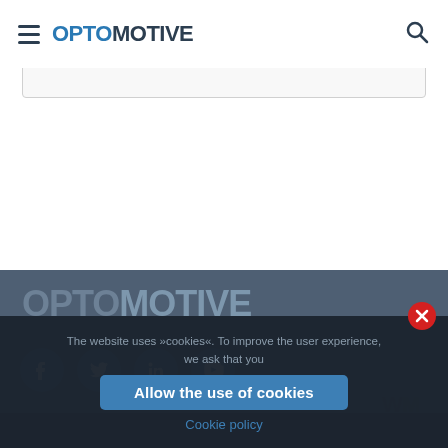OPTOMOTIVE
[Figure (screenshot): Search input bar, partially visible]
[Figure (logo): OPTOMOTIVE logo in footer, grey tones on dark blue background]
[Figure (infographic): Social media icon buttons: Facebook, Twitter, LinkedIn, YouTube — blue circles with white icons]
[Figure (other): Partially visible watermark/logo in bottom right corner]
The website uses »cookies«. To improve the user experience, we ask that you
Allow the use of cookies
Cookie policy